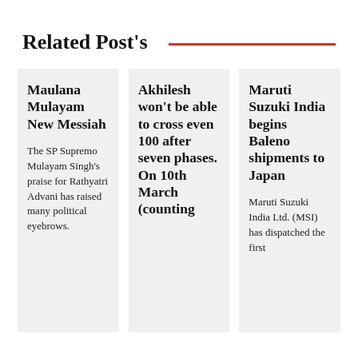Related Post's
Maulana Mulayam New Messiah
The SP Supremo Mulayam Singh's praise for Rathyatri Advani has raised many political eyebrows.
Akhilesh won't be able to cross even 100 after seven phases. On 10th March (counting
Maruti Suzuki India begins Baleno shipments to Japan
Maruti Suzuki India Ltd. (MSI) has dispatched the first